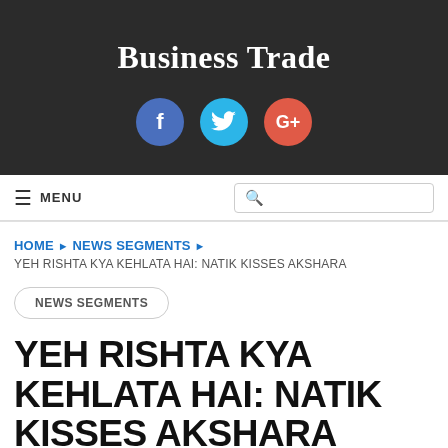Business Trade
[Figure (illustration): Three social media icon circles: Facebook (blue), Twitter (cyan), Google+ (red-orange)]
≡ MENU
HOME ▶ NEWS SEGMENTS ▶ YEH RISHTA KYA KEHLATA HAI: NATIK KISSES AKSHARA
NEWS SEGMENTS
YEH RISHTA KYA KEHLATA HAI: NATIK KISSES AKSHARA